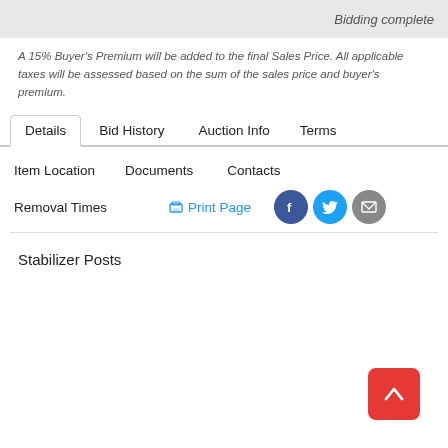Bidding complete
A 15% Buyer's Premium will be added to the final Sales Price. All applicable taxes will be assessed based on the sum of the sales price and buyer's premium.
Details | Bid History | Auction Info | Terms
Item Location | Documents | Contacts
Removal Times | Print Page
Stabilizer Posts
[Figure (other): Scroll-to-top button (red rounded square with white upward arrow)]